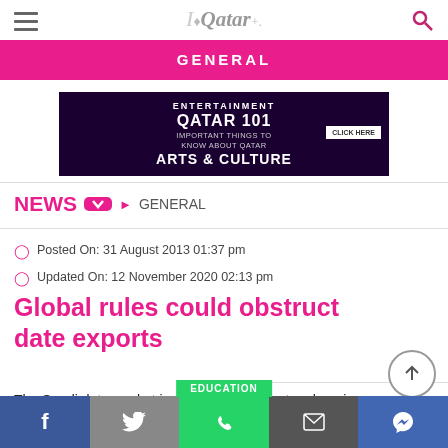ILoveQatar navigation header with GENERAL category banner
[Figure (screenshot): Advertisement banner for Qatar 101 - Entertainment, Arts & Culture with CLICK HERE button on dark purple background]
NEWS ▶ GENERAL
Posted On: 31 August 2013 01:37 pm
Updated On: 12 November 2020 02:13 pm
Global rules could obstruct date exports
The Saudi date market is witnessing a quantum leap in
f  Twitter  EDUCATION (WhatsApp)  Mail  Messenger